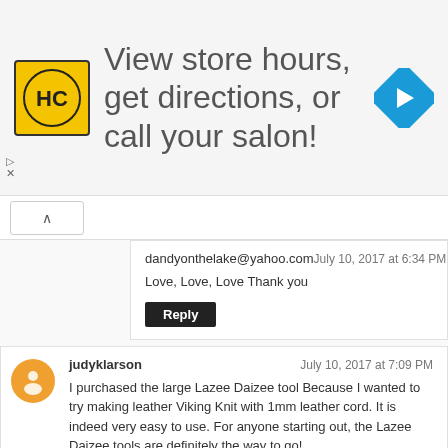[Figure (infographic): Ad banner for a salon store locator. Shows a yellow HC logo, text 'View store hours, get directions, or call your salon!', and a blue diamond-shaped navigation arrow icon.]
dandyonthelake@yahoo.com
July 10, 2017 at 6:34 PM
Love, Love, Love Thank you
Reply
judyklarson
July 10, 2017 at 7:09 PM
I purchased the large Lazee Daizee tool Because I wanted to try making leather Viking Knit with 1mm leather cord. It is indeed very easy to use. For anyone starting out, the Lazee Daizee tools are definitely the way to go!
judyklarson@gmail.com
Reply
VickyE
July 10, 2017 at 7:32 PM